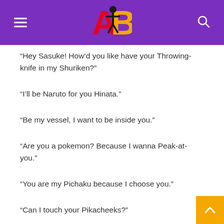AB (logo)
“Hey Sasuke! How’d you like have your Throwing-knife in my Shuriken?”
“I’ll be Naruto for you Hinata.”
“Be my vessel, I want to be inside you.”
“Are you a pokemon? Because I wanna Peak-at-you.”
“You are my Pichaku because I choose you.”
“Can I touch your Pikacheeks?”
“Be my Boku, I’ll be your Pico.”